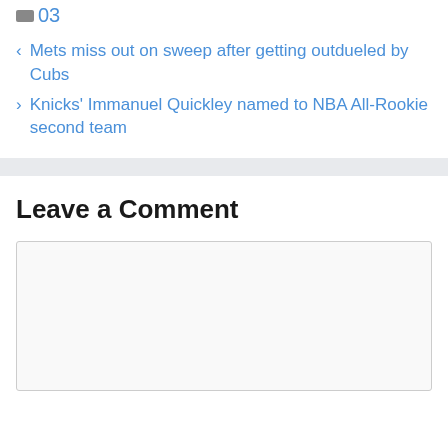03
< Mets miss out on sweep after getting outdueled by Cubs
> Knicks' Immanuel Quickley named to NBA All-Rookie second team
Leave a Comment